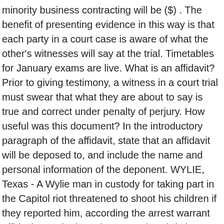minority business contracting will be ($) . The benefit of presenting evidence in this way is that each party in a court case is aware of what the other's witnesses will say at the trial. Timetables for January exams are live. What is an affidavit? Prior to giving testimony, a witness in a court trial must swear that what they are about to say is true and correct under penalty of perjury. How useful was this document? In the introductory paragraph of the affidavit, state that an affidavit will be deposed to, and include the name and personal information of the deponent. WYLIE, Texas - A Wylie man in custody for taking part in the Capitol riot threatened to shoot his children if they reported him, according the arrest warrant affidavit. I, Zainab DIYlaw, Female, Christian, Nigerian of 123 Red Street, Surulere, Lagos State, hereby depose to this affidavit and state